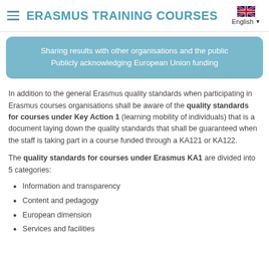ERASMUS TRAINING COURSES
Sharing results with other organisations and the public
Publicly acknowledging European Union funding
In addition to the general Erasmus quality standards when participating in Erasmus courses organisations shall be aware of the quality standards for courses under Key Action 1 (learning mobility of individuals) that is a document laying down the quality standards that shall be guaranteed when the staff is taking part in a course funded through a KA121 or KA122.
The quality standards for courses under Erasmus KA1 are divided into 5 categories:
Information and transparency
Content and pedagogy
European dimension
Services and facilities